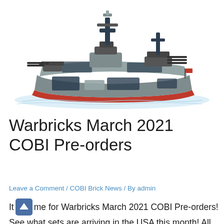[Figure (photo): A COBI brick-built model of a WWII warship/battleship with grey and black camouflage pattern, red hull bottom, multiple gun turrets and masts, displayed against a white background.]
Warbricks March 2021 COBI Pre-orders
Leave a Comment / COBI Brick News / By admin
It's time for Warbricks March 2021 COBI Pre-orders! See what sets are arriving in the USA this month! All orders of